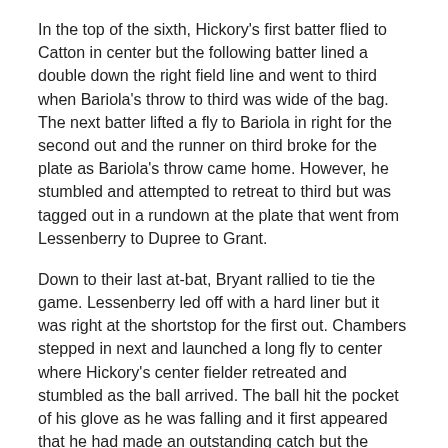In the top of the sixth, Hickory's first batter flied to Catton in center but the following batter lined a double down the right field line and went to third when Bariola's throw to third was wide of the bag. The next batter lifted a fly to Bariola in right for the second out and the runner on third broke for the plate as Bariola's throw came home. However, he stumbled and attempted to retreat to third but was tagged out in a rundown at the plate that went from Lessenberry to Dupree to Grant.
Down to their last at-bat, Bryant rallied to tie the game. Lessenberry led off with a hard liner but it was right at the shortstop for the first out. Chambers stepped in next and launched a long fly to center where Hickory's center fielder retreated and stumbled as the ball arrived. The ball hit the pocket of his glove as he was falling and it first appeared that he had made an outstanding catch but the second base umpire hustled out to center and ruled that the ball had hit the ground when he fell.